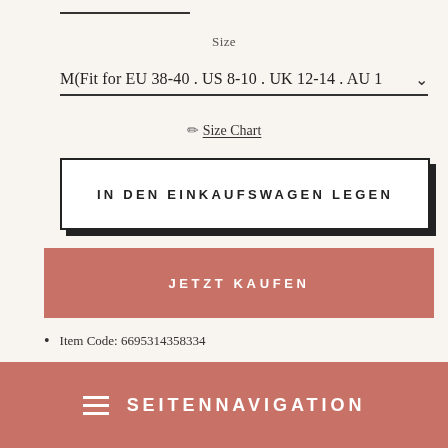Size
M(Fit for EU 38-40 . US 8-10 . UK 12-14 . AU 1⥤
✏ Size Chart
IN DEN EINKAUFSWAGEN LEGEN
JETZT KAUFEN
Item Code: 6695314358334
Material: 55%Tencel .45%Ramie
≡ SEITENNAVIGATION